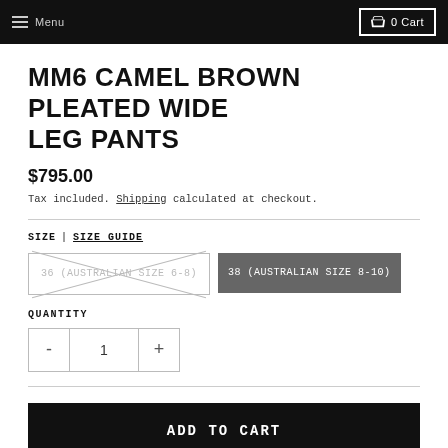Menu | 0 Cart
MM6 CAMEL BROWN PLEATED WIDE LEG PANTS
$795.00
Tax included. Shipping calculated at checkout.
SIZE | SIZE GUIDE
36 (AUSTRALIAN SIZE 6-8) [unavailable] | 38 (AUSTRALIAN SIZE 8-10)
QUANTITY
- 1 +
ADD TO CART